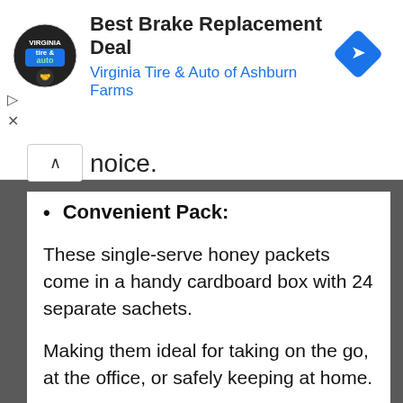[Figure (other): Advertisement banner for Virginia Tire & Auto of Ashburn Farms showing logo, title 'Best Brake Replacement Deal', and a direction arrow icon]
noice.
Convenient Pack:
These single-serve honey packets come in a handy cardboard box with 24 separate sachets.
Making them ideal for taking on the go, at the office, or safely keeping at home.
This raw organic best royal honey vip includes active compounds that improve